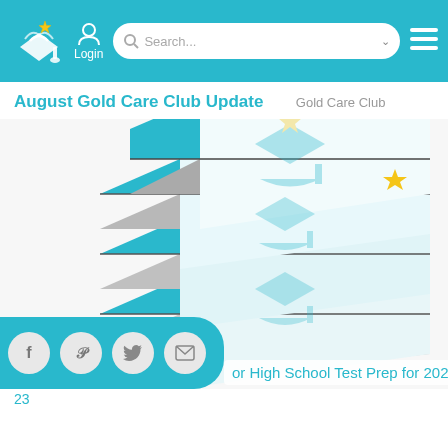Login | Search...
August Gold Care Club Update
Gold Care Club
[Figure (photo): Stack of teal/turquoise and white hardcover books with a graduation cap graphic on the covers and a gold star on the spine]
or High School Test Prep for 2022-23